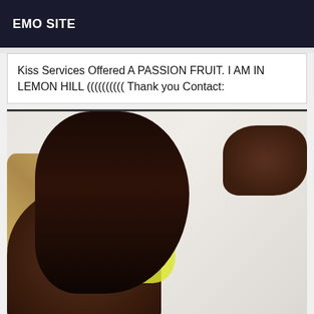EMO SITE
Kiss Services Offered A PASSION FRUIT. I AM IN LEMON HILL (((((((((( Thank you Contact:
[Figure (photo): A person with long dark straight hair lying face-down, wearing a yellow mesh/fishnet bodysuit, photographed from behind. There are dried straw/grass decorative elements visible on the left side. The background is a light gray/white wall.]